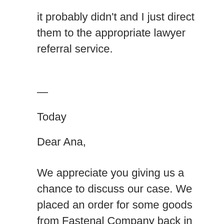it probably didn't and I just direct them to the appropriate lawyer referral service.
—
Today
Dear Ana,
We appreciate you giving us a chance to discuss our case. We placed an order for some goods from Fastenal Company back in August, 2015 and the terms of the sales contract requires we to pay 50% of the total cost of the ordered goods before delivery and the balance after we have received the same goods. However, after we made the 50% initial deposit, we did not receive any goods as required. The goods ought to be delivered in September 2015. More time was given to them to